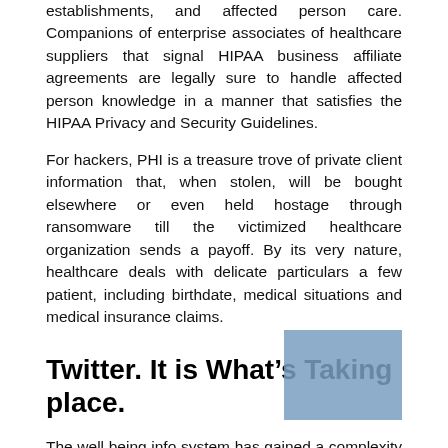establishments, and affected person care. Companions of enterprise associates of healthcare suppliers that signal HIPAA business affiliate agreements are legally sure to handle affected person knowledge in a manner that satisfies the HIPAA Privacy and Security Guidelines.
For hackers, PHI is a treasure trove of private client information that, when stolen, will be bought elsewhere or even held hostage through ransomware till the victimized healthcare organization sends a payoff. By its very nature, healthcare deals with delicate particulars a few patient, including birthdate, medical situations and medical insurance claims.
Twitter. It is What’s Taking place.
The well being info system has gained a complexity that expands to a number of levels. Although the vast majority of well being information administration packages are offered as degreed programs, a lot of academic services may lengthen medical workplace specialist coaching, which might be